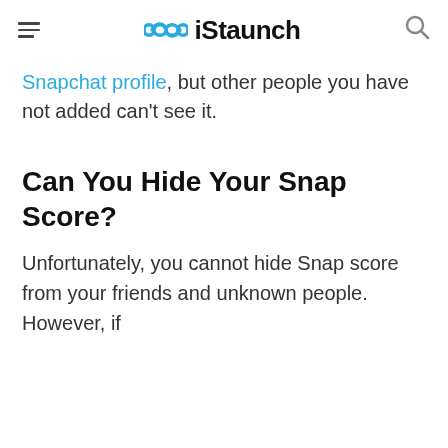iStaunch
Snapchat profile, but other people you have not added can't see it.
Can You Hide Your Snap Score?
Unfortunately, you cannot hide Snap score from your friends and unknown people. However, if